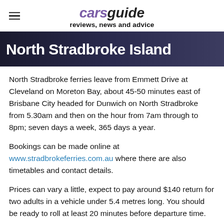carsguide reviews, news and advice
North Stradbroke Island
North Stradbroke ferries leave from Emmett Drive at Cleveland on Moreton Bay, about 45-50 minutes east of Brisbane City headed for Dunwich on North Stradbroke from 5.30am and then on the hour from 7am through to 8pm; seven days a week, 365 days a year.
Bookings can be made online at www.stradbrokeferries.com.au where there are also timetables and contact details.
Prices can vary a little, expect to pay around $140 return for two adults in a vehicle under 5.4 metres long. You should be ready to roll at least 20 minutes before departure time.